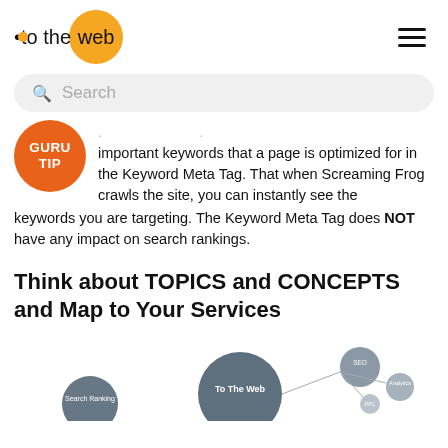•to the web
Search
important keywords that a page is optimized for in the Keyword Meta Tag. That when Screaming Frog crawls the site, you can instantly see the keywords you are targeting. The Keyword Meta Tag does NOT have any impact on search rankings.
Think about TOPICS and CONCEPTS and Map to Your Services
[Figure (infographic): Bubble/node diagram showing topics and concepts mapped to services, with large dark circles labeled 'To The Web' and 'Search Ranking' and smaller circles for sub-topics like 'SEO', 'Analytics', etc.]